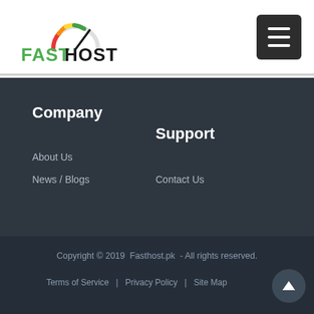[Figure (logo): FastHost logo with speedometer icon and text 'FASTHOST SUB SAY TEZI!!']
[Figure (other): Hamburger menu button (three horizontal lines) on dark background]
Company
Support
About Us
News / Blogs
Contact Us
Copyright © 2019  Fasthost.pk  - All rights reserved.
Terms of Service   |   Privacy Policy   |   Site Map